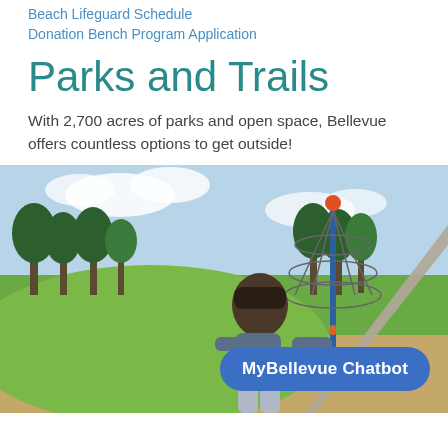Beach Lifeguard Schedule
Donation Bench Program Application
Parks and Trails
With 2,700 acres of parks and open space, Bellevue offers countless options to get outside!
[Figure (photo): A child climbing on playground equipment at a park in Bellevue; a rope climbing structure and green lawn with trees are visible in the background. A blue button overlay reads 'MyBellevue Chatbot'.]